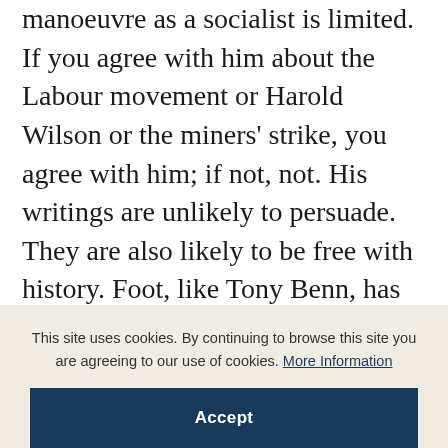manoeuvre as a socialist is limited. If you agree with him about the Labour movement or Harold Wilson or the miners' strike, you agree with him; if not, not. His writings are unlikely to persuade. They are also likely to be free with history. Foot, like Tony Benn, has picked up history on the run and not always very firmly. The Sudeten Germans, for example, are curiously called a 'peaceful and essentially social-democratic people'; 1.5 million people, it is suggested, died in the Irish famine; Harold Wilson is twitted for misremembering everything about the 'famous' Oxford by-election
This site uses cookies. By continuing to browse this site you are agreeing to our use of cookies. More Information
Accept